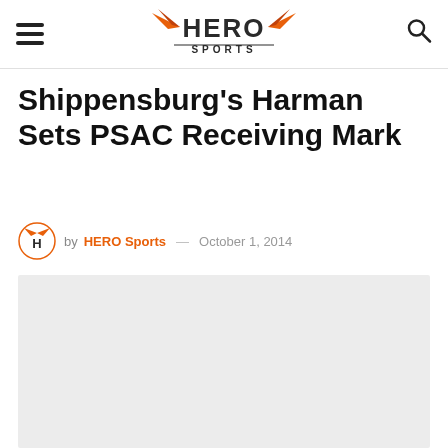HERO SPORTS
Shippensburg's Harman Sets PSAC Receiving Mark
by HERO Sports — October 1, 2014
[Figure (photo): Light gray image placeholder for article photo]